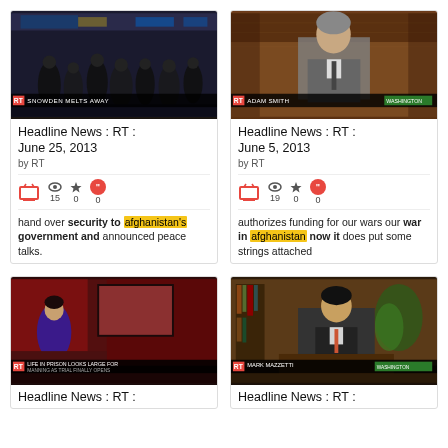[Figure (screenshot): RT news thumbnail showing airport/transit scene with lower-third text 'SNOWDEN MELTS AWAY']
Headline News : RT : June 25, 2013
by RT
[Figure (screenshot): RT news thumbnail showing man at Senate hearing with lower-third chyron 'ADAM SMITH']
Headline News : RT : June 5, 2013
by RT
hand over security to afghanistan's government and announced peace talks.
authorizes funding for our wars our war in afghanistan now it does put some strings attached
[Figure (screenshot): RT news studio thumbnail with anchor and chyron text about prison]
[Figure (screenshot): RT talk show thumbnail with man speaking, chyron 'MARK MAZZETTI']
Headline News : RT :
Headline News : RT :